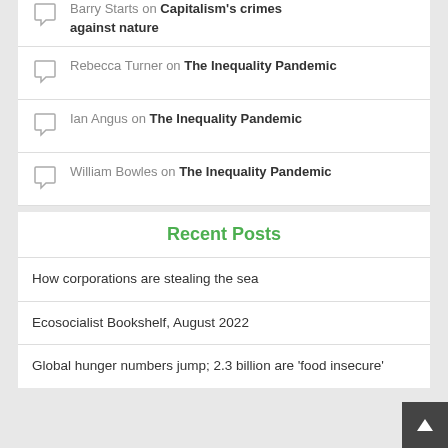Barry Starts on Capitalism's crimes against nature
Rebecca Turner on The Inequality Pandemic
Ian Angus on The Inequality Pandemic
William Bowles on The Inequality Pandemic
Recent Posts
How corporations are stealing the sea
Ecosocialist Bookshelf, August 2022
Global hunger numbers jump; 2.3 billion are 'food insecure'